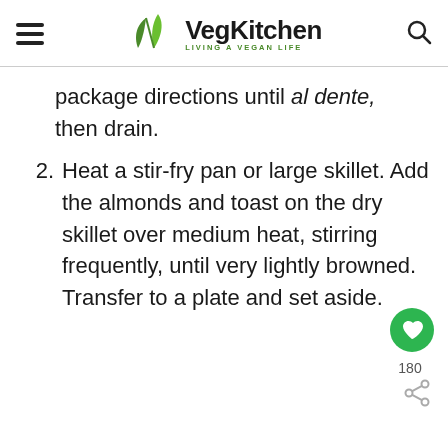VegKitchen — LIVING A VEGAN LIFE
package directions until al dente, then drain.
2. Heat a stir-fry pan or large skillet. Add the almonds and toast on the dry skillet over medium heat, stirring frequently, until very lightly browned. Transfer to a plate and set aside.